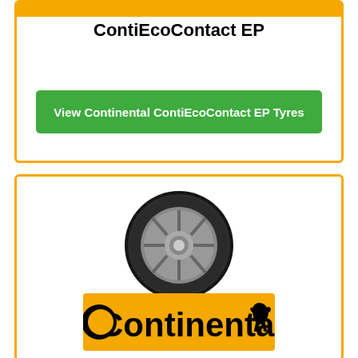ContiEcoContact EP
View Continental ContiEcoContact EP Tyres
[Figure (photo): Continental tire product photo on alloy wheel, black low-profile performance tire viewed from the side]
[Figure (logo): Continental brand logo - orange background rectangle with black Continental text and horse logo]